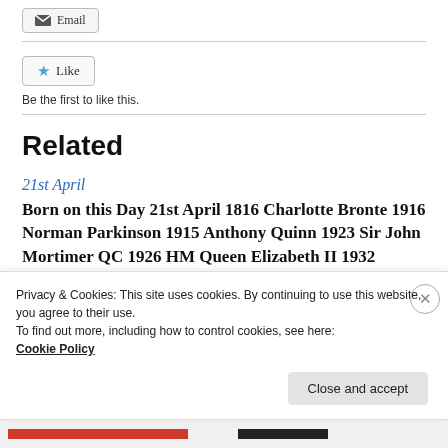[Figure (screenshot): Email button with envelope icon]
[Figure (screenshot): Like button with blue star icon]
Be the first to like this.
Related
21st April
Born on this Day 21st April 1816 Charlotte Bronte 1916 Norman Parkinson 1915 Anthony Quinn 1923 Sir John Mortimer QC 1926 HM Queen Elizabeth II 1932
Privacy & Cookies: This site uses cookies. By continuing to use this website, you agree to their use.
To find out more, including how to control cookies, see here:
Cookie Policy
Close and accept